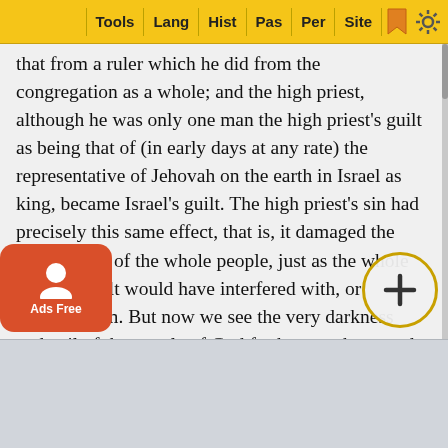Tools | Lang | Hist | Pas | Per | Site
that from a ruler which he did from the congregation as a whole; and the high priest, although he was only one man the high priest's guilt as being that of (in early days at any rate) the representative of Jehovah on the earth in Israel as king, became Israel's guilt. The high priest's sin had precisely this same effect, that is, it damaged the communion of the whole people, just as the whole people's guilt would have interfered with, or affected, him. But now we see the very darkness and evil of the people of God for here we have to do not with a family, not with His children in the true and Christian sense of the word; but we have to do with a people under the government of Jehovah in having now set up, not the fullest form of apostasy from God, but that which was verging towards it the first great departure from God, religiously as well as politically.
the setting up of the calves of gold founded upon antiquity, no do... ll, not to ano... alligianc... Him